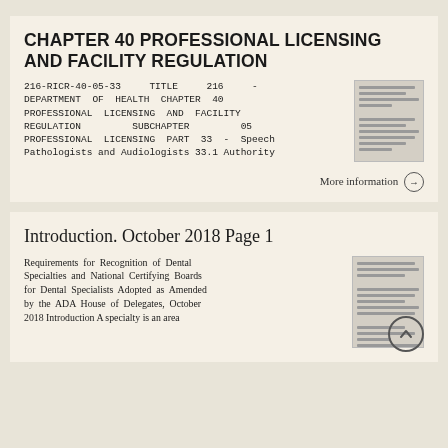CHAPTER 40 PROFESSIONAL LICENSING AND FACILITY REGULATION
216-RICR-40-05-33 TITLE 216 - DEPARTMENT OF HEALTH CHAPTER 40 PROFESSIONAL LICENSING AND FACILITY REGULATION SUBCHAPTER 05 PROFESSIONAL LICENSING PART 33 - Speech Pathologists and Audiologists 33.1 Authority
More information →
Introduction. October 2018 Page 1
Requirements for Recognition of Dental Specialties and National Certifying Boards for Dental Specialists Adopted as Amended by the ADA House of Delegates, October 2018 Introduction A specialty is an area